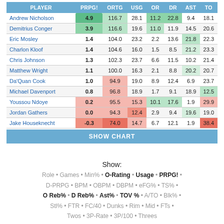| PLAYER | PRPG! | ORTG | USG | OR | DR | AST | TO |
| --- | --- | --- | --- | --- | --- | --- | --- |
| Andrew Nicholson | 4.9 | 116.7 | 28.1 | 11.2 | 22.8 | 9.4 | 18.1 |
| Demitrius Conger | 3.9 | 116.6 | 19.6 | 11.0 | 11.9 | 14.5 | 20.6 |
| Eric Mosley | 1.4 | 104.0 | 23.2 | 2.2 | 13.6 | 21.8 | 22.3 |
| Charlon Kloof | 1.4 | 104.6 | 16.0 | 1.5 | 8.5 | 21.2 | 23.3 |
| Chris Johnson | 1.3 | 102.3 | 23.7 | 6.6 | 11.5 | 10.2 | 21.4 |
| Matthew Wright | 1.1 | 100.0 | 16.3 | 2.1 | 8.8 | 20.2 | 20.7 |
| Da'Quan Cook | 1.0 | 94.9 | 19.0 | 8.9 | 12.4 | 6.9 | 23.7 |
| Michael Davenport | 0.8 | 96.8 | 18.9 | 1.7 | 9.1 | 18.9 | 12.5 |
| Youssou Ndoye | 0.2 | 95.5 | 15.3 | 10.1 | 17.6 | 1.9 | 29.9 |
| Jordan Gathers | 0.0 | 94.3 | 12.4 | 2.9 | 9.4 | 19.6 | 19.0 |
| Jake Houseknecht | -0.3 | 74.0 | 14.7 | 6.7 | 12.1 | 1.9 | 38.4 |
SHOW CHART
Show: Role • Games • Min% • O-Rating • Usage • PRPG! • D-PRPG • BPM • OBPM • DBPM • eFG% • TS% • O Reb% • D Reb% • Ast% • TOV % • A/TO • Blk% • Stl% • FTR • FC/40 • Dunks • Rim • Mid • FTs • Twos • 3P-Rate • 3P/100 • Threes